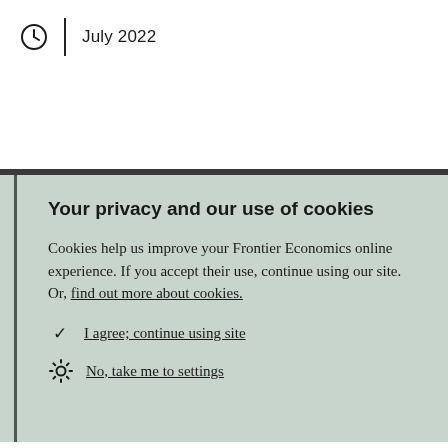July 2022
Your privacy and our use of cookies
Cookies help us improve your Frontier Economics online experience. If you accept their use, continue using our site. Or, find out more about cookies.
I agree; continue using site
No, take me to settings